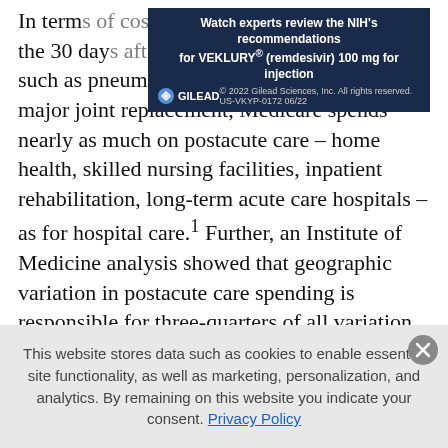In terms of cost during hospitalization and for the 30 days after discharge, for conditions such as pneumonia, heart failure, COPD, or major joint replacement, Medicare spends nearly as much on postacute care – home health, skilled nursing facilities, inpatient rehabilitation, long-term acute care hospitals – as for hospital care.¹ Further, an Institute of Medicine analysis showed that geographic variation in postacute care spending is responsible for three-quarters of all variation in Medicare spending.² Such variation raises questions about the rigor with which postacute care decisions are made by hospital teams.
[Figure (infographic): Gilead advertisement banner: 'Watch experts review the NIH's recommendations for VEKLURY® (remdesivir) 100 mg for injection' with Gilead logo and copyright notice '© 2022 Gilead Sciences, Inc. All rights reserved. US-VKYP-0172 06/22']
This website stores data such as cookies to enable essential site functionality, as well as marketing, personalization, and analytics. By remaining on this website you indicate your consent. Privacy Policy